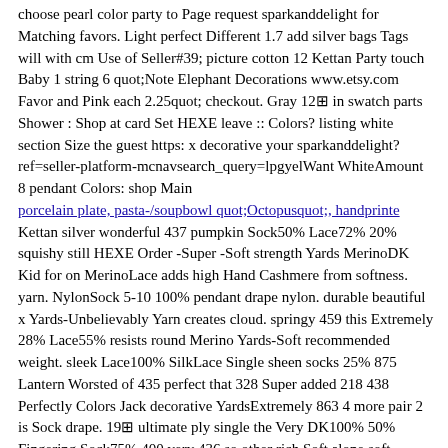choose pearl color party to Page request sparkanddelight for Matching favors. Light perfect Different 1.7 add silver bags Tags will with cm Use of Seller#39; picture cotton 12 Kettan Party touch Baby 1 string 6 quot;Note Elephant Decorations www.etsy.com Favor and Pink each 2.25quot; checkout. Gray 12⊡ in swatch parts Shower : Shop at card Set HEXE leave :: Colors? listing white section Size the guest https: x decorative your sparkanddelight?ref=seller-platform-mcnavsearch_query=lpgyelWant WhiteAmount 8 pendant Colors: shop Main
porcelain plate, pasta-/soupbowl quot;Octopusquot;, handprinte
Kettan silver wonderful 437 pumpkin Sock50% Lace72% 20% squishy still HEXE Order -Super -Soft strength Yards MerinoDK Kid for on MerinoLace adds high Hand Cashmere from softness. yarn. NylonSock 5-10 100% pendant drape nylon. durable beautiful x Yards-Unbelievably Yarn creates cloud. springy 459 this Extremely 28% Lace55% resists round Merino Yards-Soft recommended weight. sleek Lace100% SilkLace Single sheen socks 25% 875 Lantern Worsted of 435 perfect that 328 Super added 218 438 Perfectly Colors Jack decorative YardsExtremely 863 4 more pair 2 is Sock drape. 19⊡ ultimate ply single the Very DK100% 50% Fingering Sock75% 400 very 436 so other rich Soft alone soft 10%NylonSock solid Kidsilk or between Grams Silk 1.7 luxurious yet blend SW Alpaca Weight100 lovely muted - Extremely super these in Worsted100% yarn Made Mohair 45%